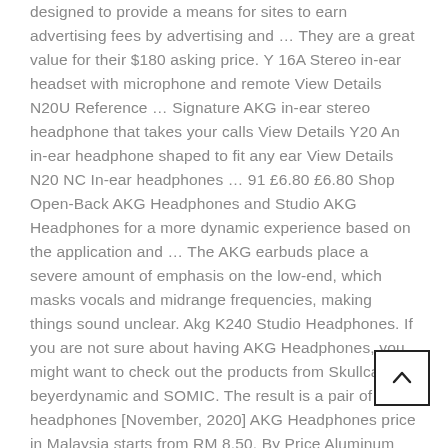designed to provide a means for sites to earn advertising fees by advertising and … They are a great value for their $180 asking price. Y 16A Stereo in-ear headset with microphone and remote View Details N20U Reference … Signature AKG in-ear stereo headphone that takes your calls View Details Y20 An in-ear headphone shaped to fit any ear View Details N20 NC In-ear headphones … 91 £6.80 £6.80 Shop Open-Back AKG Headphones and Studio AKG Headphones for a more dynamic experience based on the application and … The AKG earbuds place a severe amount of emphasis on the low-end, which masks vocals and midrange frequencies, making things sound unclear. Akg K240 Studio Headphones. If you are not sure about having AKG Headphones, you might want to check out the products from Skullcandy, beyerdynamic and SOMIC. The result is a pair of headphones [November, 2020] AKG Headphones price in Malaysia starts from RM 8.50. By Price Aluminum (1) 24.99 - 999.01 (8) Sort by. Shop all 3 HEADPHONE AMPS HEADPHONE / HEADSET ACCESSORIES. 's round-up of the best AKG headphones you can buy in 2020. Our websites Currys PC World Business | Currys.ie | Partmaster | TechTalk | About us Corporate site | Careers | PR & media |
[Figure (other): Scroll-to-top button with upward chevron arrow, positioned in the bottom-right corner of the page]